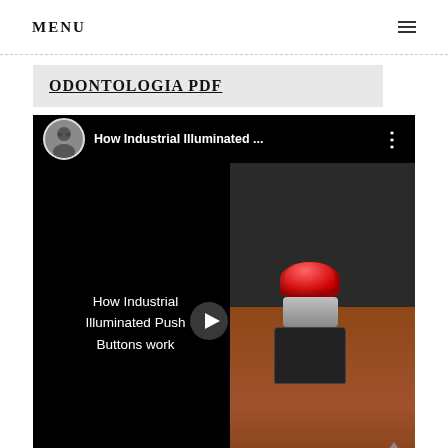MENU
ODONTOLOGIA PDF
[Figure (screenshot): YouTube video embed showing 'How Industrial Illuminated ... ' with a man's avatar thumbnail, three-dot menu icon, play button overlay, and a photo of an industrial illuminated push button on a desk. Text overlay reads 'How Industrial Illuminated Push Buttons work']